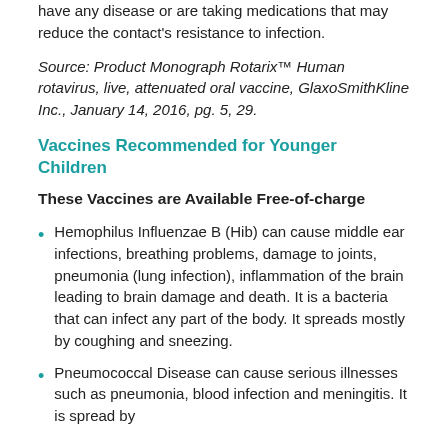have any disease or are taking medications that may reduce the contact's resistance to infection.
Source: Product Monograph Rotarix™ Human rotavirus, live, attenuated oral vaccine, GlaxoSmithKline Inc., January 14, 2016, pg. 5, 29.
Vaccines Recommended for Younger Children
These Vaccines are Available Free-of-charge
Hemophilus Influenzae B (Hib) can cause middle ear infections, breathing problems, damage to joints, pneumonia (lung infection), inflammation of the brain leading to brain damage and death. It is a bacteria that can infect any part of the body. It spreads mostly by coughing and sneezing.
Pneumococcal Disease can cause serious illnesses such as pneumonia, blood infection and meningitis. It is spread by